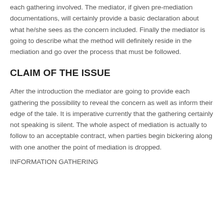each gathering involved. The mediator, if given pre-mediation documentations, will certainly provide a basic declaration about what he/she sees as the concern included. Finally the mediator is going to describe what the method will definitely reside in the mediation and go over the process that must be followed.
CLAIM OF THE ISSUE
After the introduction the mediator are going to provide each gathering the possibility to reveal the concern as well as inform their edge of the tale. It is imperative currently that the gathering certainly not speaking is silent. The whole aspect of mediation is actually to follow to an acceptable contract, when parties begin bickering along with one another the point of mediation is dropped.
INFORMATION GATHERING